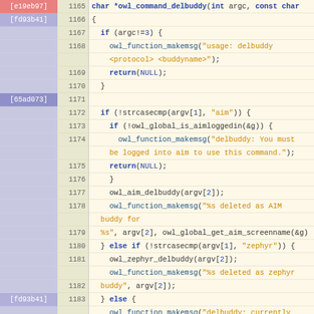[Figure (screenshot): Source code diff/blame view showing C code for owl_command_delbuddy and beginning of owl_command_join functions, lines 1165-1190, with git blame commit hashes in the left gutter colored by commit (e19eb97 red, fd93b41 blue-gray, 65ad073 purple, 8c92848 light purple).]